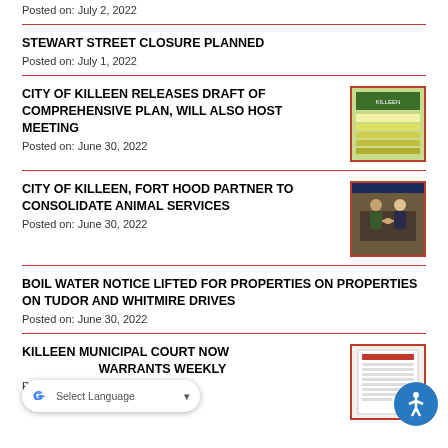Posted on: July 2, 2022
STEWART STREET CLOSURE PLANNED
Posted on: July 1, 2022
CITY OF KILLEEN RELEASES DRAFT OF COMPREHENSIVE PLAN, WILL ALSO HOST MEETING
Posted on: June 30, 2022
[Figure (photo): City of Killeen Comprehensive Plan document thumbnail with green and yellow colors]
CITY OF KILLEEN, FORT HOOD PARTNER TO CONSOLIDATE ANIMAL SERVICES
Posted on: June 30, 2022
[Figure (photo): Two officials shaking hands at a signing ceremony]
BOIL WATER NOTICE LIFTED FOR PROPERTIES ON PROPERTIES ON TUDOR AND WHITMIRE DRIVES
Posted on: June 30, 2022
KILLEEN MUNICIPAL COURT NOW WARRANTS WEEKLY
Posted on: June 29, 2022
[Figure (photo): Killeen Municipal Court document thumbnail]